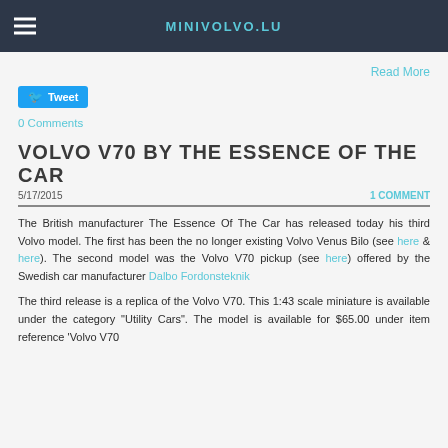MINIVOLVO.LU
Read More
Tweet
0 Comments
VOLVO V70 BY THE ESSENCE OF THE CAR
5/17/2015	1 COMMENT
The British manufacturer The Essence Of The Car has released today his third Volvo model. The first has been the no longer existing Volvo Venus Bilo (see here & here). The second model was the Volvo V70 pickup (see here) offered by the Swedish car manufacturer Dalbo Fordonsteknik
The third release is a replica of the Volvo V70. This 1:43 scale miniature is available under the category "Utility Cars". The model is available for $65.00 under item reference 'Volvo V70